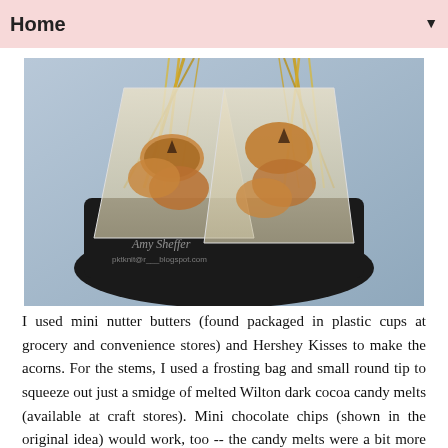Home ▼
[Figure (photo): Cookies (mini nutter butters with Hershey Kisses forming acorns) packaged in small plastic bags tied with gold ribbon, arranged in a black gift basket on a light blue surface. Watermark reads 'Amy Sheffer' and a blogspot.com URL.]
I used mini nutter butters (found packaged in plastic cups at grocery and convenience stores) and Hershey Kisses to make the acorns. For the stems, I used a frosting bag and small round tip to squeeze out just a smidge of melted Wilton dark cocoa candy melts (available at craft stores). Mini chocolate chips (shown in the original idea) would work, too -- the candy melts were a bit more efficient for me. Hopefully you can kind of see the acorns in the above photo. I didn't think to photograph them